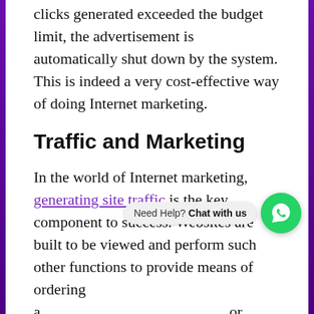clicks generated exceeded the budget limit, the advertisement is automatically shut down by the system. This is indeed a very cost-effective way of doing Internet marketing.
Traffic and Marketing
In the world of Internet marketing, generating site traffic is the key component to success. Websites are built to be viewed and perform such other functions to provide means of ordering a … or service.
Google Adwords provides a new way of generating traffic to one's website. By strategic bidding and careful designing of